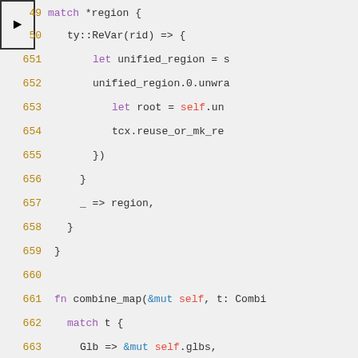[Figure (screenshot): Code editor showing Rust source code lines 649-667 with syntax highlighting. A breakpoint arrow marker is visible on line 49-50 area. Keywords are purple, &mut/self are blue/red, identifiers are dark.]
Code lines 649-667 of Rust source showing match *region, ty::ReVar(rid) block, unified_region, let root, tcx.reuse_or_mk_re, }), }, _ => region,, }, }, fn combine_map(&mut self, t: Combi, match t {, Glb => &mut self.glbs,, Lub => &mut self.lubs,, }, }